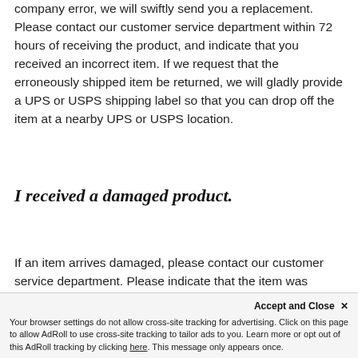company error, we will swiftly send you a replacement. Please contact our customer service department within 72 hours of receiving the product, and indicate that you received an incorrect item. If we request that the erroneously shipped item be returned, we will gladly provide a UPS or USPS shipping label so that you can drop off the item at a nearby UPS or USPS location.
I received a damaged product.
If an item arrives damaged, please contact our customer service department. Please indicate that the item was damaged and that you'd like a replacement. If possible, please include a picture of a UPS or USPS return
Accept and Close ×
Your browser settings do not allow cross-site tracking for advertising. Click on this page to allow AdRoll to use cross-site tracking to tailor ads to you. Learn more or opt out of this AdRoll tracking by clicking here. This message only appears once.